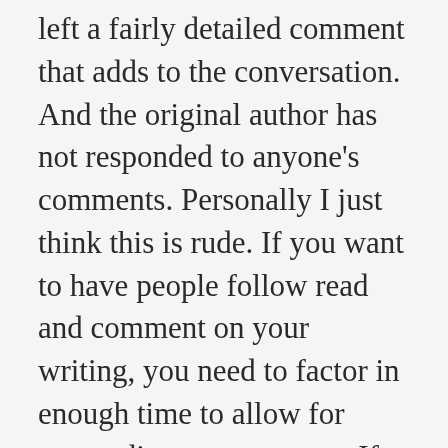left a fairly detailed comment that adds to the conversation. And the original author has not responded to anyone's comments. Personally I just think this is rude. If you want to have people follow read and comment on your writing, you need to factor in enough time to allow for responding to comments. If you can't, don't expect people to